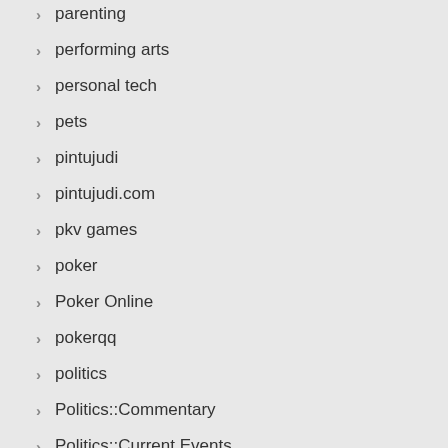parenting
performing arts
personal tech
pets
pintujudi
pintujudi.com
pkv games
poker
Poker Online
pokerqq
politics
Politics::Commentary
Politics::Current Events